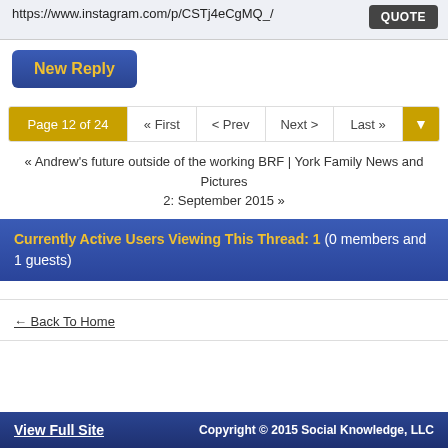https://www.instagram.com/p/CSTj4eCgMQ_/
QUOTE
New Reply
Page 12 of 24  « First  < Prev  Next >  Last »
« Andrew's future outside of the working BRF | York Family News and Pictures 2: September 2015 »
Currently Active Users Viewing This Thread: 1 (0 members and 1 guests)
← Back To Home
View Full Site    Copyright © 2015 Social Knowledge, LLC